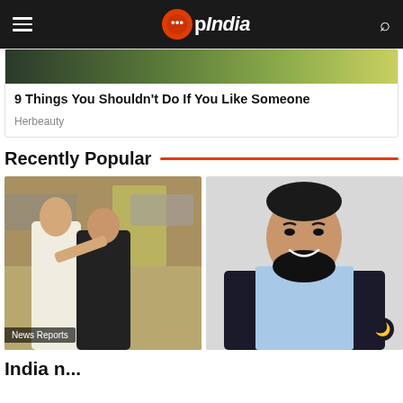OpIndia
[Figure (screenshot): Partially visible image strip at top of ad card]
9 Things You Shouldn't Do If You Like Someone
Herbeauty
Recently Popular
[Figure (photo): Two people in a street scene, left article thumbnail with 'News Reports' label]
[Figure (photo): Portrait of a bearded man in a suit smiling, right article thumbnail with moon badge]